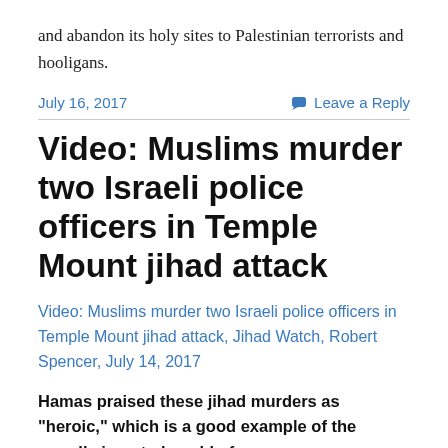and abandon its holy sites to Palestinian terrorists and hooligans.
July 16, 2017    Leave a Reply
Video: Muslims murder two Israeli police officers in Temple Mount jihad attack
Video: Muslims murder two Israeli police officers in Temple Mount jihad attack, Jihad Watch, Robert Spencer, July 14, 2017
Hamas praised these jihad murders as “heroic,” which is a good example of the morally inverted world of